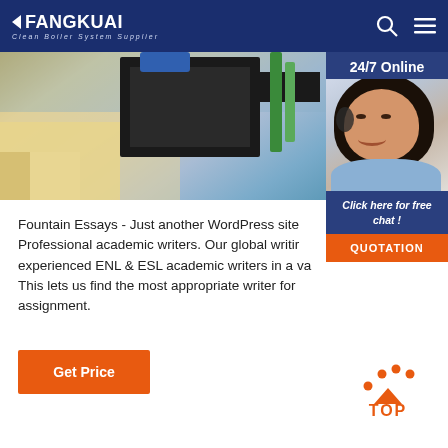FANGKUAI - Clean Boiler System Supplier
[Figure (photo): Industrial boiler equipment photo showing machinery in a facility]
[Figure (photo): 24/7 Online customer service agent with headset, with Click here for free chat and QUOTATION button]
Fountain Essays - Just another WordPress site Professional academic writers. Our global writing experienced ENL & ESL academic writers in a va This lets us find the most appropriate writer for assignment.
Get Price
[Figure (other): Back to TOP button with orange dots and triangle icon]